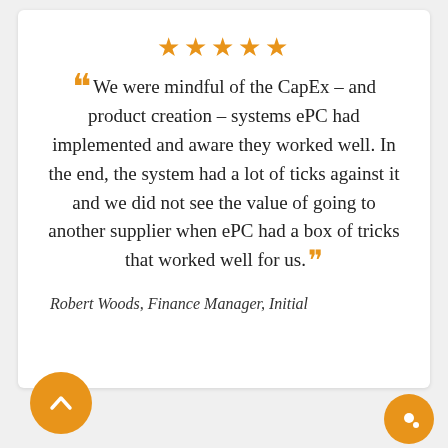[Figure (other): Five orange star rating icons in a row]
“We were mindful of the CapEx – and product creation – systems ePC had implemented and aware they worked well. In the end, the system had a lot of ticks against it and we did not see the value of going to another supplier when ePC had a box of tricks that worked well for us.”
Robert Woods, Finance Manager, Initial